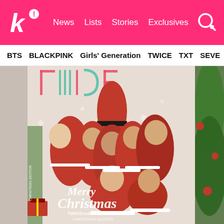Koreaboo — News | Lists | Stories | Exclusives
BTS  BLACKPINK  Girls' Generation  TWICE  TXT  SEVE
[Figure (photo): TWICE TWICEcoaster: LANE 1 Christmas Edition album cover featuring all nine members dressed in red Santa Claus outfits with 'Merry Christmas' text and TWICE logo. Christmas tree and decorations visible.]